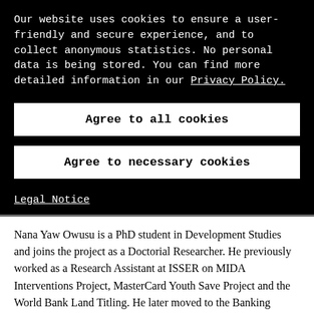Our website uses cookies to ensure a user-friendly and secure experience, and to collect anonymous statistics. No personal data is being stored. You can find more detailed information in our Privacy Policy.
Agree to all cookies
Agree to necessary cookies
Legal Notice
Nana Yaw Owusu is a PhD student in Development Studies and joins the project as a Doctorial Researcher. He previously worked as a Research Assistant at ISSER on MIDA Interventions Project, MasterCard Youth Save Project and the World Bank Land Titling. He later moved to the Banking Sector as a Business Development Manager. His research interests are in the field of empirical international economics and development, with